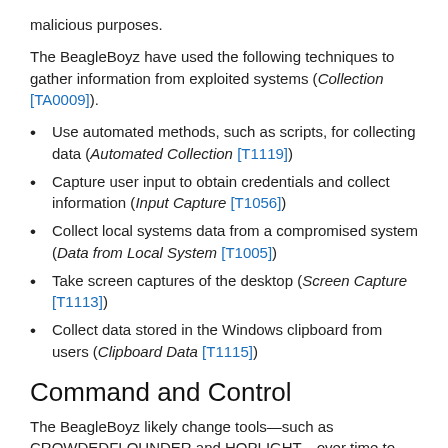malicious purposes.
The BeagleBoyz have used the following techniques to gather information from exploited systems (Collection [TA0009]).
Use automated methods, such as scripts, for collecting data (Automated Collection [T1119])
Capture user input to obtain credentials and collect information (Input Capture [T1056])
Collect local systems data from a compromised system (Data from Local System [T1005])
Take screen captures of the desktop (Screen Capture [T1113])
Collect data stored in the Windows clipboard from users (Clipboard Data [T1115])
Command and Control
The BeagleBoyz likely change tools—such as CROWDEDFLOUNDER and HOPLIGHT—over time to maintain remote access to financial institution networks and to interact with those systems.